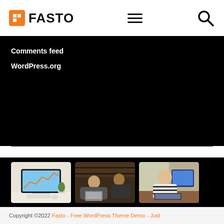FASTO
Comments feed
WordPress.org
[Figure (photo): Three thumbnail photos showing: 1) an iMac on a desk with a chart on screen, keyboard and plant; 2) two people talking in a cafe with laptops; 3) a woman in striped shirt working on a laptop with a monitor behind her]
Copyright ©2022 Fasto - Free WordPress Theme Demo - Just